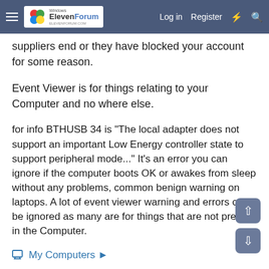Windows ElevenForum | Log in | Register
suppliers end or they have blocked your account for some reason.
Event Viewer is for things relating to your Computer and no where else.
for info BTHUSB 34 is "The local adapter does not support an important Low Energy controller state to support peripheral mode..." It's an error you can ignore if the computer boots OK or awakes from sleep without any problems, common benign warning on laptops. A lot of event viewer warning and errors can be ignored as many are for things that are not present in the Computer.
My Computers ▶